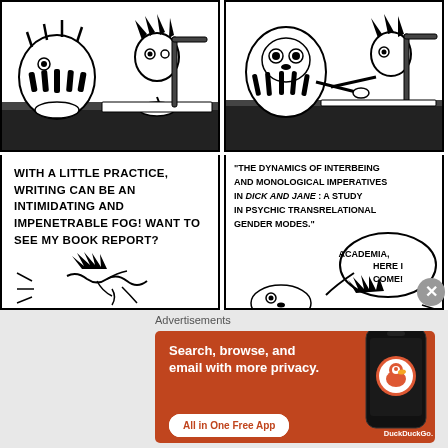[Figure (illustration): Calvin and Hobbes comic strip. Top two panels show Calvin (boy with spiky hair) and Hobbes (tiger) sitting at a table, with Calvin writing. Bottom left panel has text caption. Bottom right panel shows the book report title in quotes with a speech bubble.]
WITH A LITTLE PRACTICE, WRITING CAN BE AN INTIMIDATING AND IMPENETRABLE FOG! WANT TO SEE MY BOOK REPORT?
"THE DYNAMICS OF INTERBEING AND MONOLOGICAL IMPERATIVES IN DICK AND JANE: A STUDY IN PSYCHIC TRANSRELATIONAL GENDER MODES."
ACADEMIA, HERE I COME!
Advertisements
[Figure (infographic): DuckDuckGo advertisement banner with orange background. Text: Search, browse, and email with more privacy. All in One Free App. Image of a smartphone with DuckDuckGo logo.]